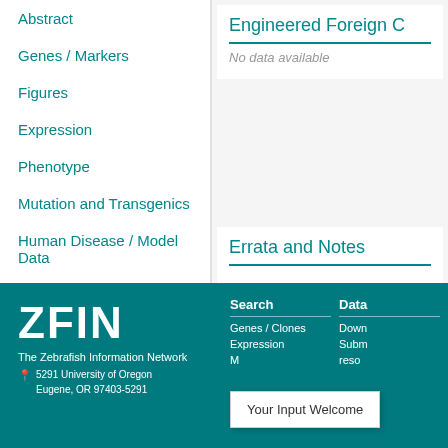Abstract
Genes / Markers
Figures
Expression
Phenotype
Mutation and Transgenics
Human Disease / Model Data
Sequence Targeting Reagents
Engineered Foreign C
No data available
Errata and Notes
ZFIN
The Zebrafish Information Network
5291 University of Oregon
Eugene, OR 97403-5291
Search
Genes / Clones
Expression
Data
Download
Submit
Your Input Welcome